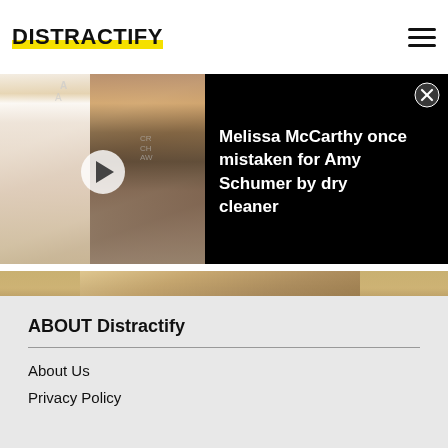[Figure (logo): Distractify logo with yellow highlight underline]
[Figure (screenshot): Video overlay: photo of two women at Critics Choice Awards on left, dark overlay panel on right with headline text about Melissa McCarthy and Amy Schumer]
Melissa McCarthy once mistaken for Amy Schumer by dry cleaner
[Figure (photo): Close-up photo of a woman with blonde/brown hair against dark background]
ABOUT Distractify
About Us
Privacy Policy